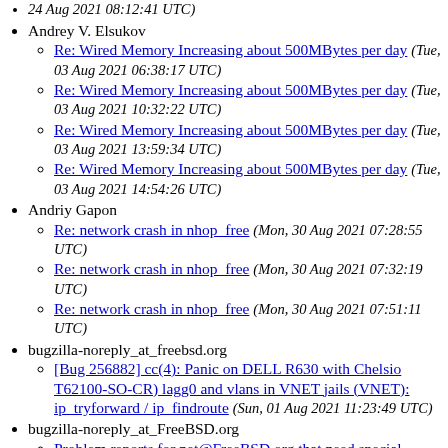24 Aug 2021 08:12:41 UTC)
Andrey V. Elsukov
Re: Wired Memory Increasing about 500MBytes per day (Tue, 03 Aug 2021 06:38:17 UTC)
Re: Wired Memory Increasing about 500MBytes per day (Tue, 03 Aug 2021 10:32:22 UTC)
Re: Wired Memory Increasing about 500MBytes per day (Tue, 03 Aug 2021 13:59:34 UTC)
Re: Wired Memory Increasing about 500MBytes per day (Tue, 03 Aug 2021 14:54:26 UTC)
Andriy Gapon
Re: network crash in nhop_free (Mon, 30 Aug 2021 07:28:55 UTC)
Re: network crash in nhop_free (Mon, 30 Aug 2021 07:32:19 UTC)
Re: network crash in nhop_free (Mon, 30 Aug 2021 07:51:11 UTC)
bugzilla-noreply_at_freebsd.org
[Bug 256882] cc(4): Panic on DELL R630 with Chelsio T62100-SO-CR) lagg0 and vlans in VNET jails (VNET): ip_tryforward / ip_findroute (Sun, 01 Aug 2021 11:23:49 UTC)
bugzilla-noreply_at_FreeBSD.org
Problem reports for net@FreeBSD.org that need special attention (Sun, 01 Aug 2021 21:00:59 UTC)